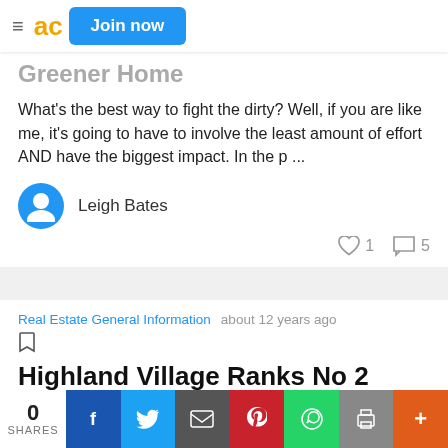Join now
Greener Home
What's the best way to fight the dirty? Well, if you are like me, it's going to have to involve the least amount of effort AND have the biggest impact. In the p ...
Leigh Bates
Real Estate General Information   about 12 years ago
Highland Village Ranks No 2 among Best Places to Live
It isn't the first time that Highland Village has
0 SHARES  f  Twitter  Email  Pinterest  WhatsApp  Print  +